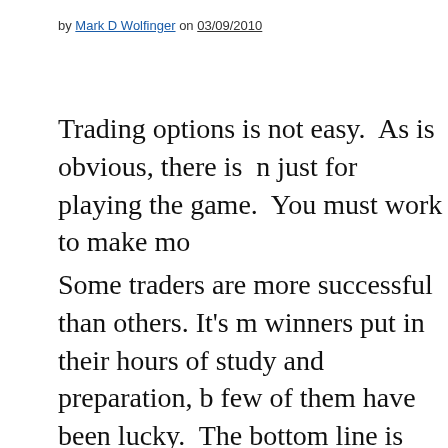by Mark D Wolfinger on 03/09/2010
Trading options is not easy.  As is obvious, there is  n just for playing the game.  You must work to make mo
Some traders are more successful than others. It's m winners put in their hours of study and preparation, b few of them have been lucky.  The bottom line is that of the lucky ones, then you are a gambler, not a trade
If you make an effort to truly understand what you are and energy to learning your craft, then that improves
The above is prelude to an email I received just two d so many levels, but mostly because I feel sorry for thi successful.  He studies charts and thinks about his tra missing.
Here are a few excepts from his message, along with